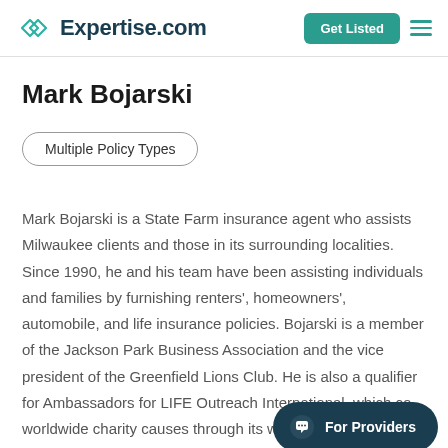Expertise.com
Mark Bojarski
Multiple Policy Types
Mark Bojarski is a State Farm insurance agent who assists Milwaukee clients and those in its surrounding localities. Since 1990, he and his team have been assisting individuals and families by furnishing renters', homeowners', automobile, and life insurance policies. Bojarski is a member of the Jackson Park Business Association and the vice president of the Greenfield Lions Club. He is also a qualifier for Ambassadors for LIFE Outreach International, which co worldwide charity causes through its work.